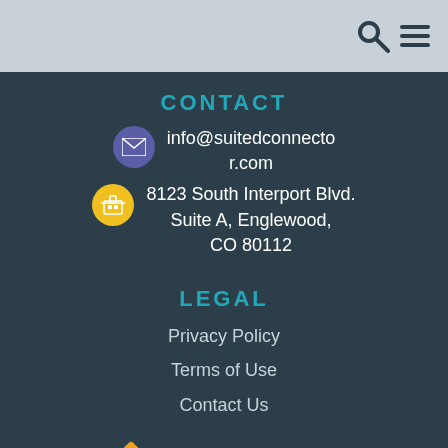CONTACT
info@suitedconnector.com
8123 South Interport Blvd.
Suite A, Englewood, CO 80112
LEGAL
Privacy Policy
Terms of Use
Contact Us
[Figure (logo): Mortgage.info logo with orange house icon and white/orange text]